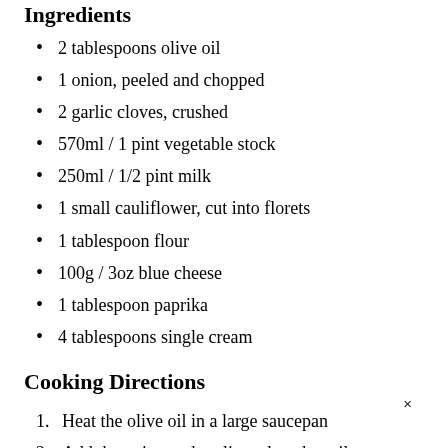Ingredients
2 tablespoons olive oil
1 onion, peeled and chopped
2 garlic cloves, crushed
570ml / 1 pint vegetable stock
250ml / 1/2 pint milk
1 small cauliflower, cut into florets
1 tablespoon flour
100g / 3oz blue cheese
1 tablespoon paprika
4 tablespoons single cream
Cooking Directions
Heat the olive oil in a large saucepan
Add the onion and garlic and cook until